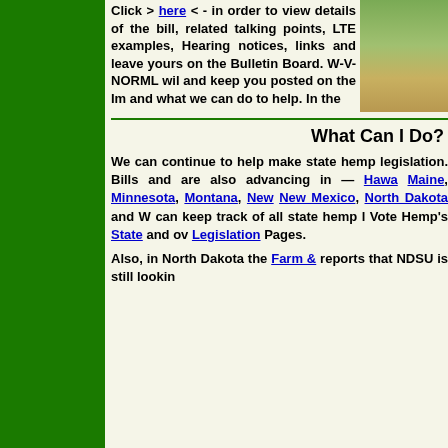Click > here < - in order to view details of the bill, related talking points, LTE examples, Hearing notices, links and leave yours on the Bulletin Board. W-V-NORML will and keep you posted on the Im and what we can do to help. In the
[Figure (photo): Photo of a hemp field with tall green plants against a blue sky]
What Can I Do?
We can continue to help make state hemp legislation. Bills and are also advancing in — Hawaii, Maine, Minnesota, Montana, New, New Mexico, North Dakota and W can keep track of all state hemp Vote Hemp's State and ov Legislation Pages.
Also, in North Dakota the Farm & reports that NDSU is still lookin